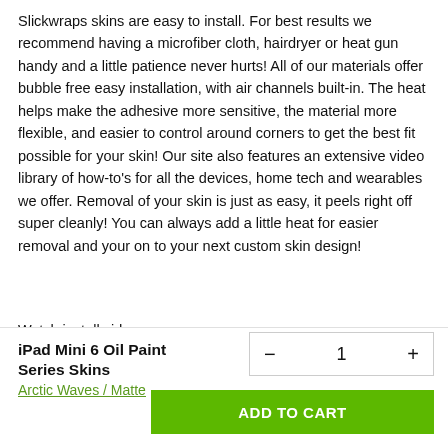Slickwraps skins are easy to install. For best results we recommend having a microfiber cloth, hairdryer or heat gun handy and a little patience never hurts! All of our materials offer bubble free easy installation, with air channels built-in. The heat helps make the adhesive more sensitive, the material more flexible, and easier to control around corners to get the best fit possible for your skin! Our site also features an extensive video library of how-to's for all the devices, home tech and wearables we offer. Removal of your skin is just as easy, it peels right off super cleanly! You can always add a little heat for easier removal and your on to your next custom skin design!
Watch install videos
How we make a Slickwraps?
iPad Mini 6 Oil Paint Series Skins
Arctic Waves / Matte
− 1 +
ADD TO CART